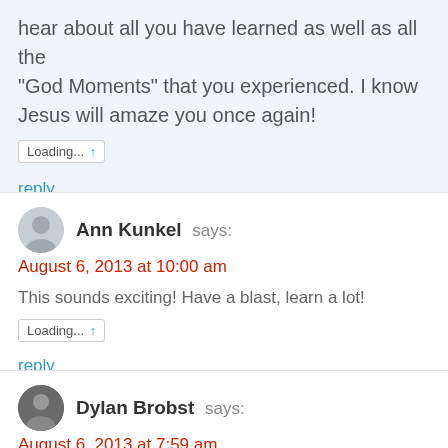hear about all you have learned as well as all the “God Moments” that you experienced. I know Jesus will amaze you once again!
Loading... ↑
reply
Ann Kunkel says:
August 6, 2013 at 10:00 am
This sounds exciting! Have a blast, learn a lot!
Loading... ↑
reply
Dylan Brobst says:
August 6, 2013 at 7:59 am